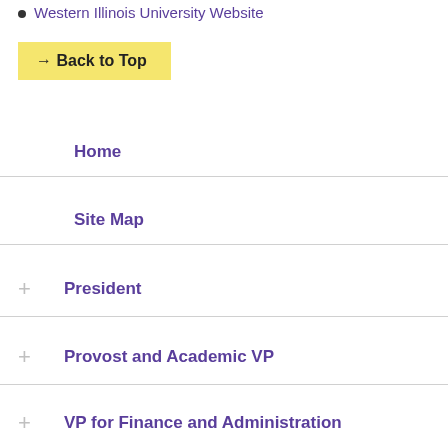Western Illinois University Website
→ Back to Top
Home
Site Map
+ President
+ Provost and Academic VP
+ VP for Finance and Administration